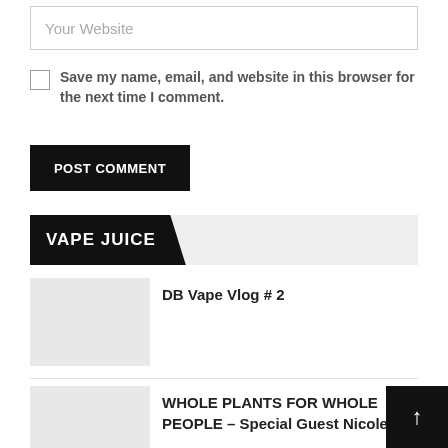Your Website
Save my name, email, and website in this browser for the next time I comment.
POST COMMENT
VAPE JUICE
[Figure (photo): Thumbnail placeholder image for DB Vape Vlog #2]
DB Vape Vlog # 2
[Figure (photo): Thumbnail placeholder image for WHOLE PLANTS FOR WHOLE PEOPLE article]
WHOLE PLANTS FOR WHOLE PEOPLE – Special Guest Nicole...